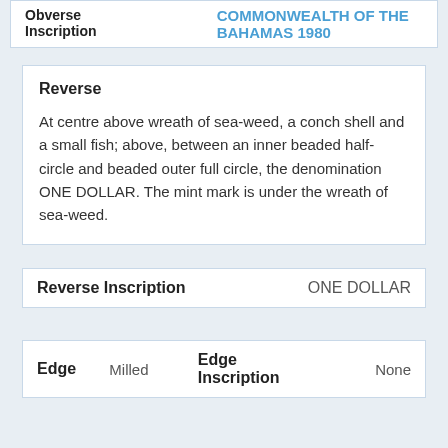| Obverse Inscription |  |
| --- | --- |
| Obverse Inscription | COMMONWEALTH OF THE BAHAMAS 1980 |
Reverse

At centre above wreath of sea-weed, a conch shell and a small fish; above, between an inner beaded half-circle and beaded outer full circle, the denomination ONE DOLLAR. The mint mark is under the wreath of sea-weed.
| Reverse Inscription |  |
| --- | --- |
| Reverse Inscription | ONE DOLLAR |
| Edge | Edge Inscription |
| --- | --- |
| Edge | Milled | Edge Inscription | None |